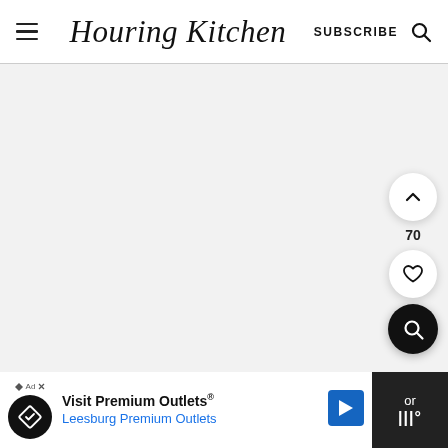Houring Kitchen — SUBSCRIBE — [search icon]
[Figure (screenshot): Light gray empty content area with floating action buttons on the right side: an upward chevron button, a count of 70, a heart/favorite button, and a dark search button]
[Figure (infographic): Advertisement bar: Visit Premium Outlets® Leesburg Premium Outlets, with logo and navigation arrow icon]